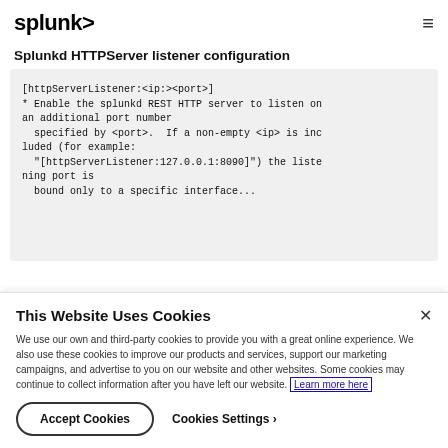splunk>
Splunkd HTTPServer listener configuration
[Figure (screenshot): Code block showing Splunkd HTTPServer listener configuration: [httpServerListener:<ip:><port>] * Enable the splunkd REST HTTP server to listen on an additional port number specified by <port>. If a non-empty <ip> is included (for example: "[httpServerListener:127.0.0.1:8090]") the listening port is bound only to a specific interface...]
This Website Uses Cookies
We use our own and third-party cookies to provide you with a great online experience. We also use these cookies to improve our products and services, support our marketing campaigns, and advertise to you on our website and other websites. Some cookies may continue to collect information after you have left our website. Learn more here
Accept Cookies  Cookies Settings ›